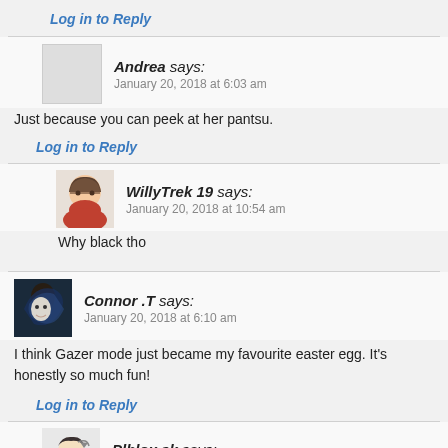Log in to Reply
Andrea says:
January 20, 2018 at 6:03 am
Just because you can peek at her pantsu.
Log in to Reply
WillyTrek 19 says:
January 20, 2018 at 10:54 am
Why black tho
Connor .T says:
January 20, 2018 at 6:10 am
I think Gazer mode just became my favourite easter egg. It's honestly so much fun!
Log in to Reply
Plblox sk says:
January 20, 2018 at 6:38 am
It's the best easter egg but some of the animations bug out on